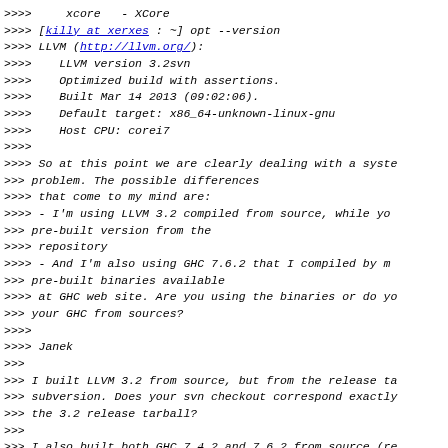>>>>     xcore   - XCore
>>>> [killy at xerxes : ~] opt --version
>>>> LLVM (http://llvm.org/):
>>>>    LLVM version 3.2svn
>>>>    Optimized build with assertions.
>>>>    Built Mar 14 2013 (09:02:06).
>>>>    Default target: x86_64-unknown-linux-gnu
>>>>    Host CPU: corei7
>>>>
>>>> So at this point we are clearly dealing with a syste
>>> problem. The possible differences
>>>> that come to my mind are:
>>>> - I'm using LLVM 3.2 compiled from source, while yo
>>> pre-built version from the
>>>> repository
>>>> - And I'm also using GHC 7.6.2 that I compiled by m
>>> pre-built binaries available
>>>> at GHC web site. Are you using the binaries or do yo
>>> your GHC from sources?
>>>>
>>>> Janek
>>>
>>> I built LLVM 3.2 from source, but from the release ta
>>> subversion. Does your svn checkout correspond exactly
>>> the 3.2 release tarball?
>>>
>>> I also built both GHC 7.4.2 and 7.6.2 from source (re
>>> both using the native back end. Since it's the stage
>>> failing, it's difficult to see why this would matter.
>>>